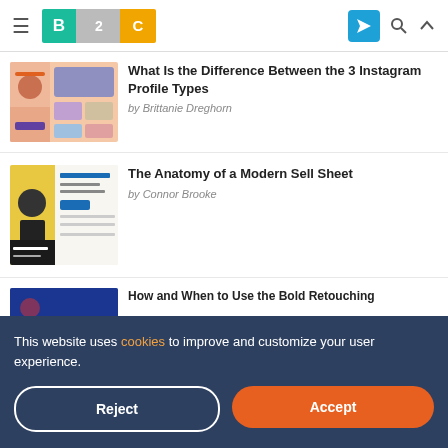B2C — Business 2 Community
[Figure (screenshot): Thumbnail image for Instagram profile types article]
What Is the Difference Between the 3 Instagram Profile Types
by Brittanie Dreghorn
[Figure (screenshot): Thumbnail image for Modern Sell Sheet article showing product pages]
The Anatomy of a Modern Sell Sheet
by Connor Brooke
[Figure (screenshot): Partial thumbnail for third article]
How and When to Use the Bold Retouching
How to Change Fonts on Instagram Everything You Need to Know
This website uses cookies to improve and customize your user experience.
Reject
Accept